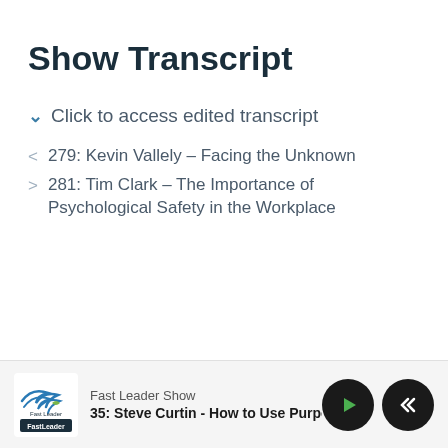Show Transcript
Click to access edited transcript
279: Kevin Vallely – Facing the Unknown
281: Tim Clark – The Importance of Psychological Safety in the Workplace
Fast Leader Show | 35: Steve Curtin - How to Use Purpo